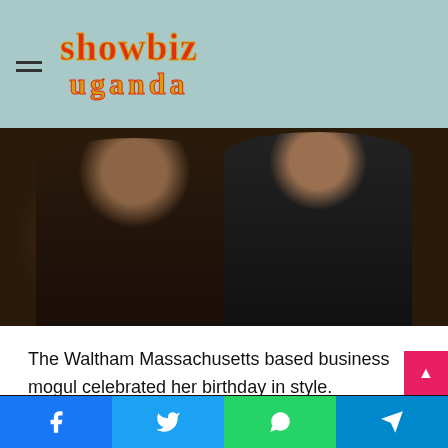showbiz uganda
[Figure (photo): Two women posing together at what appears to be a party or event venue. The woman on the left wears a deep V-neck black satin dress with gold earrings; the woman on the right wears a black cold-shoulder striped dress. Dark restaurant/bar setting in the background.]
The Waltham Massachusetts based business mogul celebrated her birthday in style.
[Figure (photo): Group of women with natural curly hair posing together at an indoor event venue with dim lighting and warm overhead lights.]